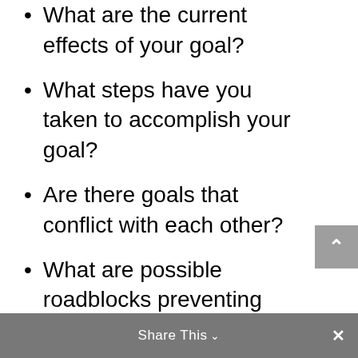What are the current effects of your goal?
What steps have you taken to accomplish your goal?
Are there goals that conflict with each other?
What are possible roadblocks preventing you from achieving your goals?  How will you overcome them?
How often do you need your goals reviewed – daily, monthly,
Share This